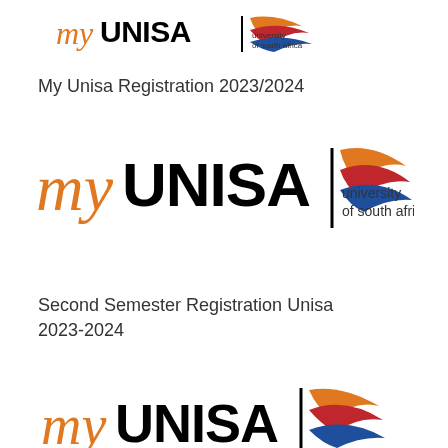[Figure (logo): myUNISA logo small with orange 'my' script, bold black UNISA text, vertical divider, flame swoosh graphic, and 'university of south africa' text]
My Unisa Registration 2023/2024
[Figure (logo): myUNISA logo large with orange 'my' script, bold black UNISA text, vertical divider, flame swoosh graphic, and 'university of south africa' text]
Second Semester Registration Unisa 2023-2024
[Figure (logo): myUNISA logo bottom (partial) with orange 'my' script, bold black UNISA text, vertical divider, and partial flame swoosh graphic]